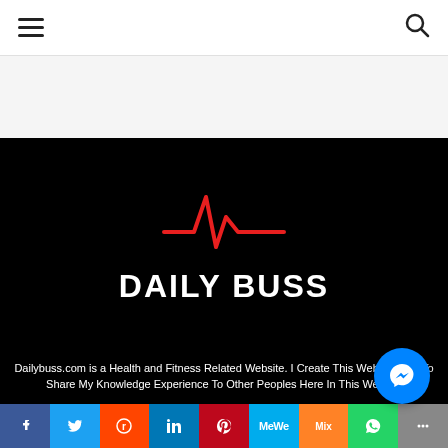Navigation bar with hamburger menu and search icon
[Figure (logo): Daily Buss logo: red heartbeat/EKG line graphic above white bold text reading DAILY BUSS on black background]
Dailybuss.com is a Health and Fitness Related Website. I Create This Website Just To Share My Knowledge Experience To Other Peoples Here In This Website
[Figure (infographic): Social share bar with icons: Facebook, Twitter, Reddit, LinkedIn, Pinterest, MeWe, Mix, WhatsApp, More]